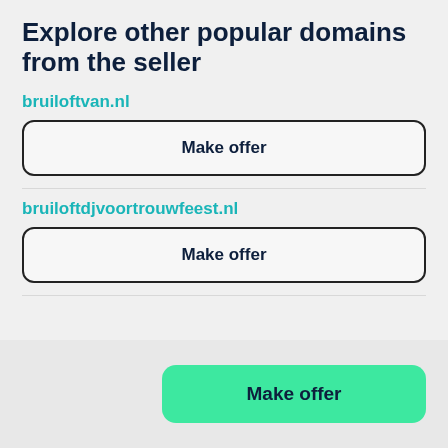Explore other popular domains from the seller
bruiloftvan.nl
Make offer
bruiloftdjvoortrouwfeest.nl
Make offer
Make offer